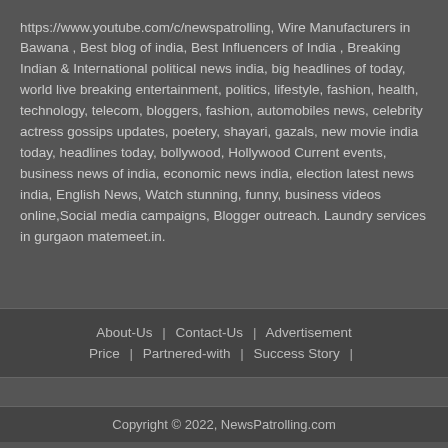https://www.youtube.com/c/newspatrolling, Wire Manufacturers in Bawana , Best blog of india, Best Influencers of India , Breaking Indian & International political news india, big headlines of today, world live breaking entertainment, politics, lifestyle, fashion, health, technology, telecom, bloggers, fashion, automobiles news, celebrity actress gossips updates, poetery, shayari, gazals, new movie india today, headlines today, bollywood, Hollywood Current events, business news of india, economic news india, election latest news india, English News, Watch stunning, funny, business videos online,Social media campaigns, Blogger outreach. Laundry services in gurgaon matemeet.in.
About-Us | Contact-Us | Advertisement Price | Partnered-with | Success Story |
Copyright © 2022, NewsPatrolling.com